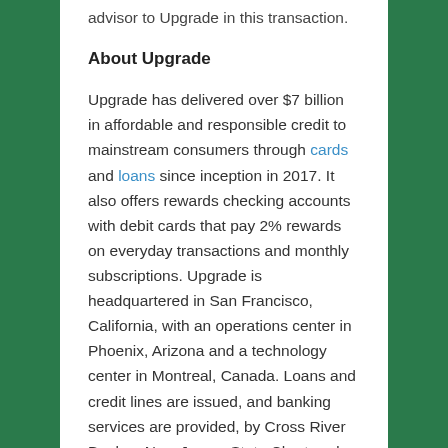advisor to Upgrade in this transaction.
About Upgrade
Upgrade has delivered over $7 billion in affordable and responsible credit to mainstream consumers through cards and loans since inception in 2017. It also offers rewards checking accounts with debit cards that pay 2% rewards on everyday transactions and monthly subscriptions. Upgrade is headquartered in San Francisco, California, with an operations center in Phoenix, Arizona and a technology center in Montreal, Canada. Loans and credit lines are issued, and banking services are provided, by Cross River Bank, a New Jersey State Chartered